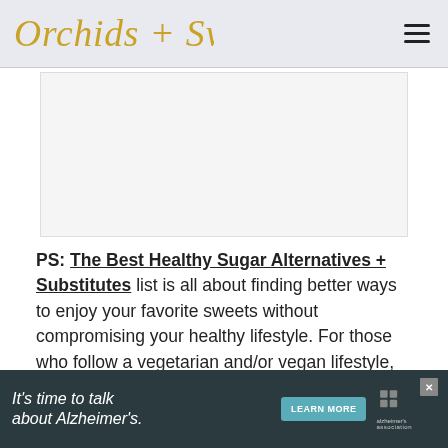Orchids + Sweet Tea
[Figure (other): Advertisement placeholder box (white/light gray rectangle)]
PS: The Best Healthy Sugar Alternatives + Substitutes list is all about finding better ways to enjoy your favorite sweets without compromising your healthy lifestyle. For those who follow a vegetarian and/or vegan lifestyle,
[Figure (other): Advertisement banner: 'It's time to talk about Alzheimer's.' with Learn More button and Alzheimer's Association logo]